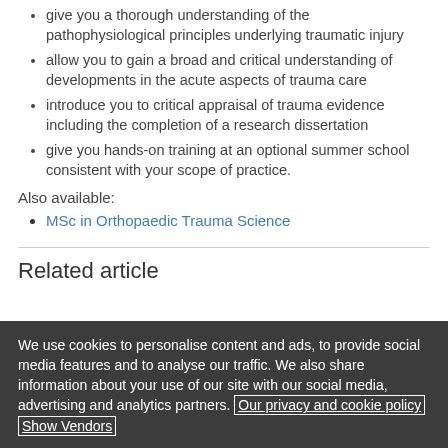give you a thorough understanding of the pathophysiological principles underlying traumatic injury
allow you to gain a broad and critical understanding of developments in the acute aspects of trauma care
introduce you to critical appraisal of trauma evidence including the completion of a research dissertation
give you hands-on training at an optional summer school consistent with your scope of practice.
Also available:
MSc in Orthopaedic Trauma Science
Related article
We use cookies to personalise content and ads, to provide social media features and to analyse our traffic. We also share information about your use of our site with our social media, advertising and analytics partners. Our privacy and cookie policy  Show Vendors